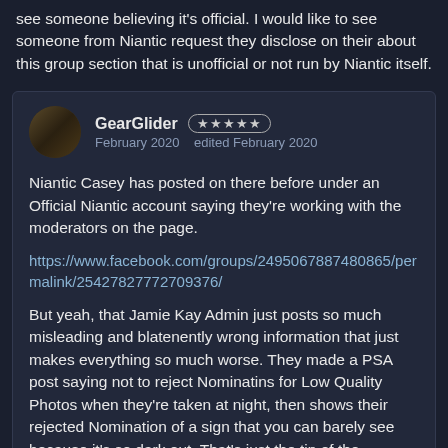see someone believing it's official. I would like to see someone from Niantic request they disclose on their about this group section that is unofficial or not run by Niantic itself.
GearGlider ★★★★★ February 2020   edited February 2020
Niantic Casey has posted on there before under an Official Niantic account saying they're working with the moderators on the page.
https://www.facebook.com/groups/2495067887480865/permalink/25427827772709376/
But yeah, that Jamie Kay Admin just posts so much misleading and blatenently wrong information that just makes everything so much worse. They made a PSA post saying not to reject Nominatins for Low Quality Photos when they're taken at night, then shows their rejected Nomination of a sign that you can barely see because it's so dark out. That's just the tip of the